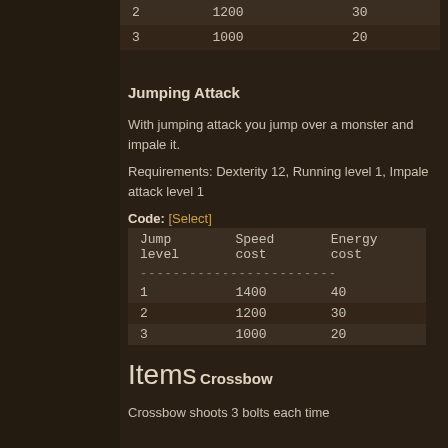| 2 | 1200 | 30 |
| 3 | 1000 | 20 |
Jumping Attack
With jumping attack you jump over a monster and impale it.
Requirements: Dexterity 12, Running level 1, Impale attack level 1
Code: [Select]
| Jump level | Speed cost | Energy cost |
| --- | --- | --- |
| 1 | 1400 | 40 |
| 2 | 1200 | 30 |
| 3 | 1000 | 20 |
Items
Crossbow
Crossbow shoots 3 bolts each time